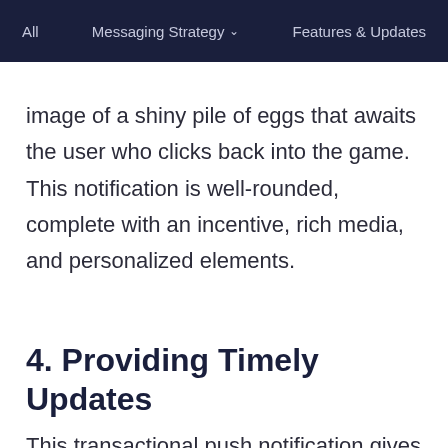All   Messaging Strategy ∨   Features & Updates
image of a shiny pile of eggs that awaits the user who clicks back into the game. This notification is well-rounded, complete with an incentive, rich media, and personalized elements.
4. Providing Timely Updates
This transactional push notification gives